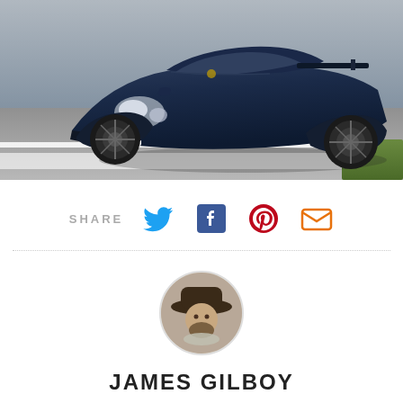[Figure (photo): Blue Porsche 911 sports car (license plate S-GO 4359) driving on a racetrack, photographed from a low front-three-quarter angle. Gray asphalt track with white painted lines visible.]
SHARE
[Figure (infographic): Social share icons: Twitter bird (blue), Facebook 'f' (dark blue), Pinterest 'P' (red), Email envelope (orange)]
[Figure (photo): Circular profile photo of James Gilboy, a man with a beard wearing a wide-brimmed hat and scarf.]
JAMES GILBOY
View James Gilboy's Articles
JamesGilboy